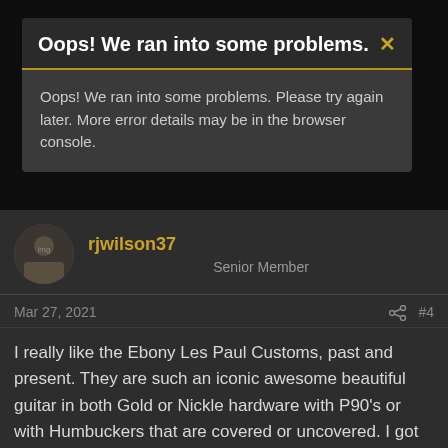Oops! We ran into some problems.
Oops! We ran into some problems. Please try again later. More error details may be in the browser console.
rjwilson37
Senior Member
Mar 27, 2021
#4
I really like the Ebony Les Paul Customs, past and present. They are such an iconic awesome beautiful guitar in both Gold or Nickle hardware with P90's or with Humbuckers that are covered or uncovered. I got the Joe Bonamassa the day I got the email from Epiphone that the BB was out and available. I didn't even know that there were going to be so few made and only the lucky early birds would be getting them. I had been looking at the Epiphone 2020 Les Paul Customs inspired by Gibson and wanted to get one, but first pulled the trigger on the Joe BB because of the aged binding and it